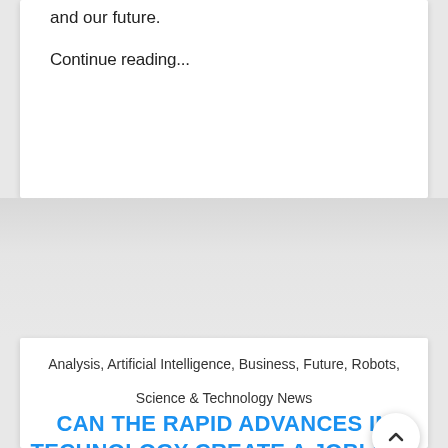and our future.
Continue reading...
Analysis, Artificial Intelligence, Business, Future, Robots, Science & Technology News
CAN THE RAPID ADVANCES IN TECHNOLOGY CREATE A JOBLESS FUTURE?